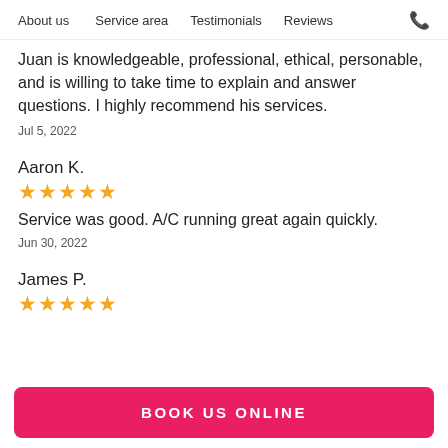About us   Service area   Testimonials   Reviews
Juan is knowledgeable, professional, ethical, personable, and is willing to take time to explain and answer questions. I highly recommend his services.
Jul 5, 2022
Aaron K.
★★★★★
Service was good. A/C running great again quickly.
Jun 30, 2022
James P.
★★★★★
BOOK US ONLINE